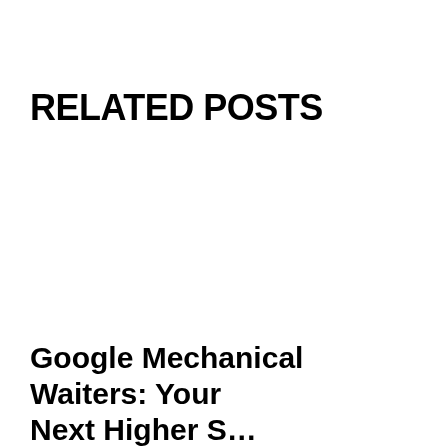RELATED POSTS
Google Mechanical Waiters: Your Next Higher S…